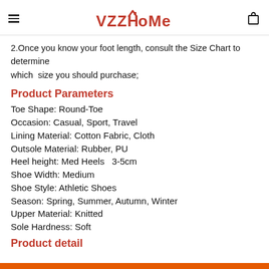VZZHome logo with hamburger menu and cart icon
2.Once you know your foot length, consult the Size Chart to determine which  size you should purchase;
Product Parameters
Toe Shape: Round-Toe
Occasion: Casual, Sport, Travel
Lining Material: Cotton Fabric, Cloth
Outsole Material: Rubber, PU
Heel height: Med Heels  3-5cm
Shoe Width: Medium
Shoe Style: Athletic Shoes
Season: Spring, Summer, Autumn, Winter
Upper Material: Knitted
Sole Hardness: Soft
Product detail